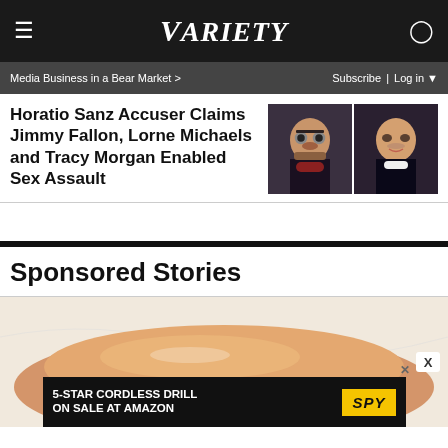VARIETY
Media Business in a Bear Market > | Subscribe | Log in
Horatio Sanz Accuser Claims Jimmy Fallon, Lorne Michaels and Tracy Morgan Enabled Sex Assault
[Figure (photo): Two headshots side by side: left shows a man with glasses and a dark beard wearing a tuxedo with red bow tie; right shows a clean-shaven man in a tuxedo smiling.]
Sponsored Stories
[Figure (photo): Close-up photo of a hamburger bun or bread roll on white paper.]
[Figure (photo): Advertisement banner: 5-STAR CORDLESS DRILL ON SALE AT AMAZON with SPY logo on yellow background.]